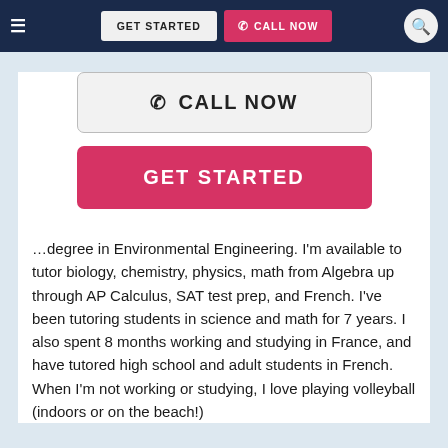GET STARTED | CALL NOW
[Figure (screenshot): Large CALL NOW button with phone icon, outlined style]
[Figure (screenshot): Large GET STARTED button in pink/red color]
…degree in Environmental Engineering. I'm available to tutor biology, chemistry, physics, math from Algebra up through AP Calculus, SAT test prep, and French. I've been tutoring students in science and math for 7 years. I also spent 8 months working and studying in France, and have tutored high school and adult students in French. When I'm not working or studying, I love playing volleyball (indoors or on the beach!)